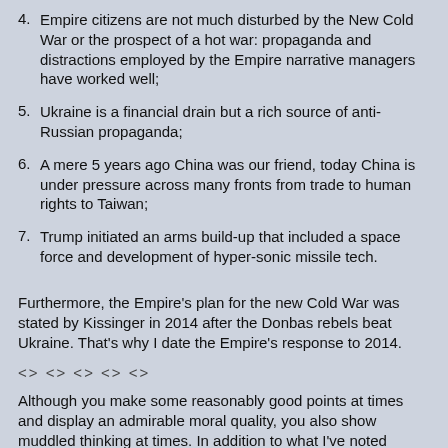4. Empire citizens are not much disturbed by the New Cold War or the prospect of a hot war: propaganda and distractions employed by the Empire narrative managers have worked well;
5. Ukraine is a financial drain but a rich source of anti-Russian propaganda;
6. A mere 5 years ago China was our friend, today China is under pressure across many fronts from trade to human rights to Taiwan;
7. Trump initiated an arms build-up that included a space force and development of hyper-sonic missile tech.
Furthermore, the Empire's plan for the new Cold War was stated by Kissinger in 2014 after the Donbas rebels beat Ukraine. That's why I date the Empire's response to 2014.
<> <> <> <> <>
Although you make some reasonably good points at times and display an admirable moral quality, you also show muddled thinking at times. In addition to what I've noted above, there's another @Jun27 21:10 #57: